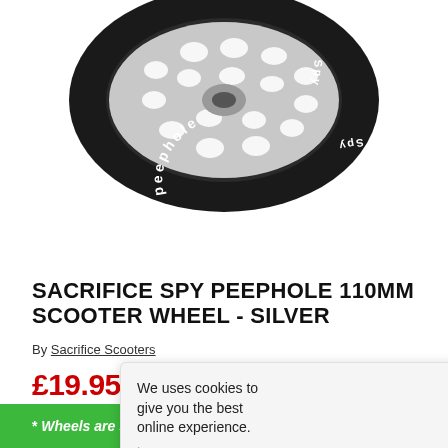[Figure (photo): A black and silver scooter wheel with 'Peephole' branding on the tire, viewed from the front at an angle. The hub has a honeycomb/hole pattern in silver metal. The tire is black with white lettering reading 'Peephole' and 'Spy'.]
SACRIFICE SPY PEEPHOLE 110MM SCOOTER WHEEL - SILVER
By Sacrifice Scooters
£19.95  £29.95  SALE
IN STOCK
EARN LOYALTY POINTS
* Wheels are sold individually.
We uses cookies to give you the best online experience. Learn more.